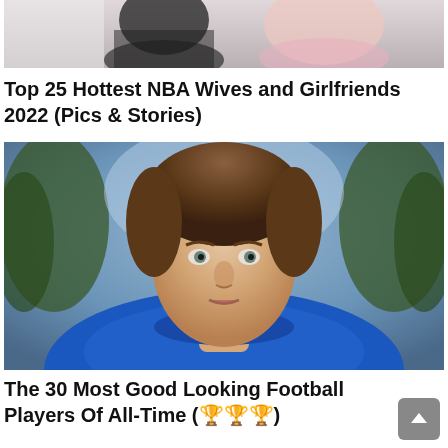[Figure (photo): Partial photo of NBA wives/girlfriends, cropped at top of page]
Top 25 Hottest NBA Wives and Girlfriends 2022 (Pics & Stories)
[Figure (photo): Close-up portrait photo of a young male football player with brown hair wearing a blue jersey]
The 30 Most Good Looking Football Players Of All-Time (🏆🏆🏆)